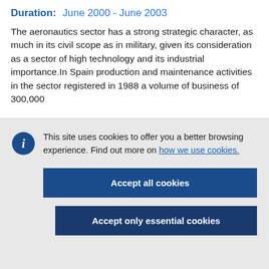Duration: June 2000 - June 2003
The aeronautics sector has a strong strategic character, as much in its civil scope as in military, given its consideration as a sector of high technology and its industrial importance.In Spain production and maintenance activities in the sector registered in 1988 a volume of business of 300,000
This site uses cookies to offer you a better browsing experience. Find out more on how we use cookies.
Accept all cookies
Accept only essential cookies